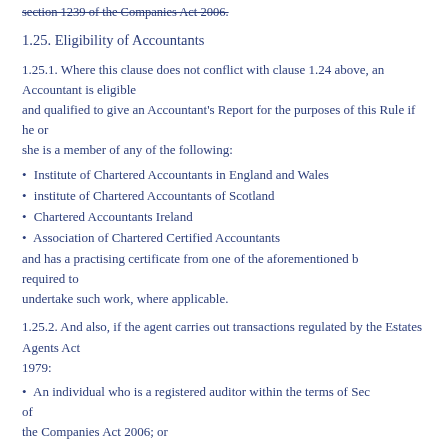section 1239 of the Companies Act 2006.
1.25. Eligibility of Accountants
1.25.1. Where this clause does not conflict with clause 1.24 above, an Accountant is eligible and qualified to give an Accountant's Report for the purposes of this Rule if he or she is a member of any of the following:
• Institute of Chartered Accountants in England and Wales
• institute of Chartered Accountants of Scotland
• Chartered Accountants Ireland
• Association of Chartered Certified Accountants
and has a practising certificate from one of the aforementioned b required to undertake such work, where applicable.
1.25.2. And also, if the agent carries out transactions regulated by the Estates Agents Act 1979:
• An individual who is a registered auditor within the terms of Sec of the Companies Act 2006; or